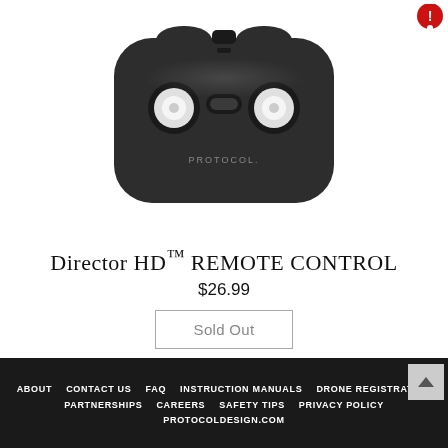[Figure (photo): Top-view photograph of a black Protocol drone remote control with two white joystick thumbsticks and a central button, rounded rectangular shape with 'PROTOCOL' branding on the front]
Director HD™ REMOTE CONTROL
$26.99
Sold Out
ABOUT  CONTACT US  FAQ  INSTRUCTION MANUALS  DRONE REGISTRATION  PARTNERSHIPS  CAREERS  SAFETY TIPS  PRIVACY POLICY  PROTOCOLDESIGN.com